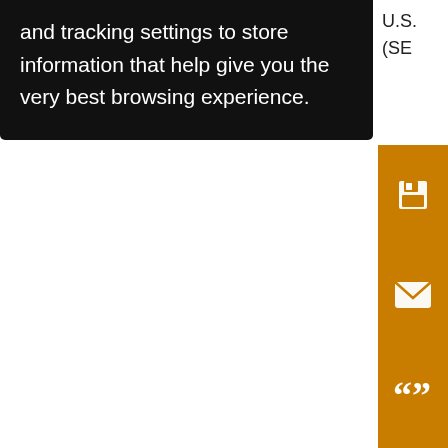and tracking settings to store information that help give you the very best browsing experience.
[Figure (screenshot): Orange sidebar with icons: save (floppy disk), email (envelope), cite (quotation marks), annotation (pen with strikethrough), share (share icon). Partially visible text at top right reads 'U.S.' and '(SE'. Bottom right shows partial text: 'In t', 'Cita', 'Jou', 'Cli', '10.1']
View Full Size